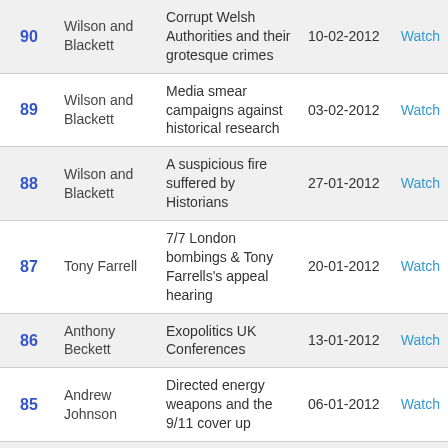| # | Speaker | Topic | Date |  |
| --- | --- | --- | --- | --- |
| 90 | Wilson and Blackett | Corrupt Welsh Authorities and their grotesque crimes | 10-02-2012 | Watch |
| 89 | Wilson and Blackett | Media smear campaigns against historical research | 03-02-2012 | Watch |
| 88 | Wilson and Blackett | A suspicious fire suffered by Historians | 27-01-2012 | Watch |
| 87 | Tony Farrell | 7/7 London bombings & Tony Farrells's appeal hearing | 20-01-2012 | Watch |
| 86 | Anthony Beckett | Exopolitics UK Conferences | 13-01-2012 | Watch |
| 85 | Andrew Johnson | Directed energy weapons and the 9/11 cover up | 06-01-2012 | Watch |
| 83 | Phil Atherton | Monarchy, 2011, the media and smut | 23-12-2011 | Watch |
| 82 | David Cayton | Rendlesham UFO, Belgium UFOs & Night Vision | 16-12-2011 | Watch |